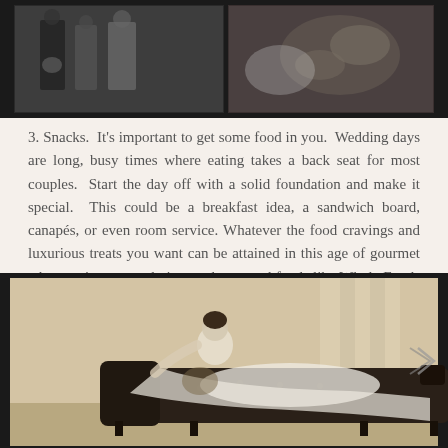[Figure (photo): Black and white wedding photos at the top of the page showing wedding party members including bride and groom]
3. Snacks.  It's important to get some food in you.  Wedding days are long, busy times where eating takes a back seat for most couples.  Start the day off with a solid foundation and make it special.  This could be a breakfast idea, a sandwich board, canapés, or even room service. Whatever the food cravings and luxurious treats you want can be attained in this age of gourmet take-out, internet ordering, and prepared foods like Whole Foods and Harvest Co-op have daily.  Perhaps, preparing something homemade will add a special touch.  Make your choice, and make a plan.
[Figure (photo): Sepia-toned photograph of a bride in a white gown reclining on a dark tufted chaise lounge sofa in a room with curtained windows]